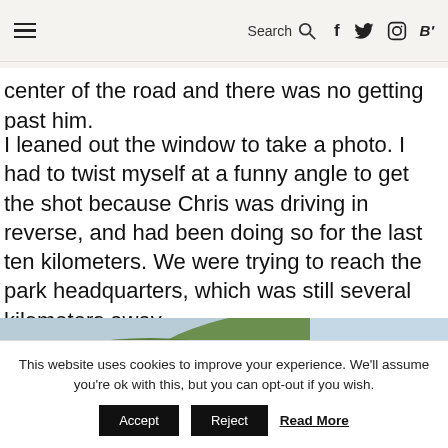≡  Search 🔍  f  t  Instagram  B'
center of the road and there was no getting past him.
I leaned out the window to take a photo. I had to twist myself at a funny angle to get the shot because Chris was driving in reverse, and had been doing so for the last ten kilometers. We were trying to reach the park headquarters, which was still several kilometers away.
[Figure (photo): Green hillside covered with trees and shrubs, landscape photo taken through a car window]
This website uses cookies to improve your experience. We'll assume you're ok with this, but you can opt-out if you wish.
Accept   Reject   Read More